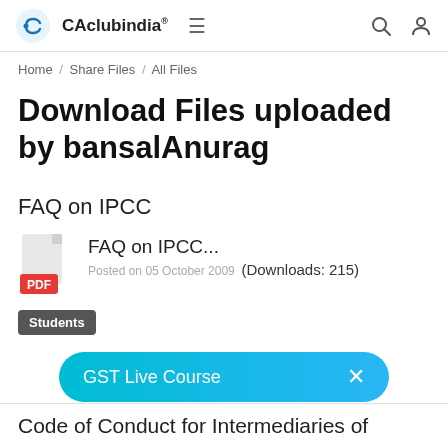CAclubindia®
Home / Share Files / All Files
Download Files uploaded by bansalAnurag
FAQ on IPCC
FAQ on IPCC...
Posted on 05 October 2009  (Downloads: 215)
Students
GST Live Course  ×
Code of Conduct for Intermediaries of